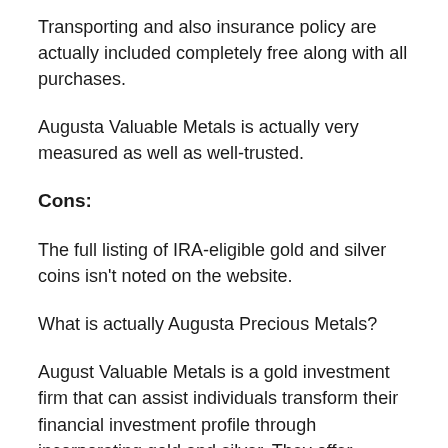Transporting and also insurance policy are actually included completely free along with all purchases.
Augusta Valuable Metals is actually very measured as well as well-trusted.
Cons:
The full listing of IRA-eligible gold and silver coins isn't noted on the website.
What is actually Augusta Precious Metals?
August Valuable Metals is a gold investment firm that can assist individuals transform their financial investment profile through incorporating gold and silver. They offer